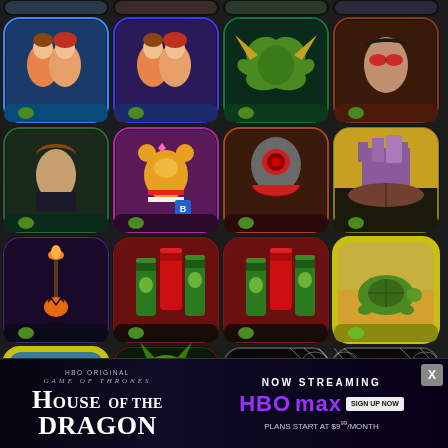[Figure (screenshot): Grid of mobile game app icons, 5 rows x 4 columns. Row 1 (partial, top): 4 game icons partially visible. Row 2: couple hugging (2 variants), fantasy creature/dragon, person with sunglasses. Row 3: young man portrait, teddy bear toy game, robot/cyborg character, fantasy castle on book. Row 4: pumpkin on torch gothic scene, green wine bottles (2 variants), turtle on sand. Row 5: turtle with landscape, green demon creature, woman face with spiderweb (2 variants). Row 6 (partial, bottom): 4 icons partially visible including octopus/tentacles. Each icon has blue/teal wave and small turtle badge in corners.]
[Figure (screenshot): Advertisement banner at bottom: HBO Original Game of Thrones - House of the Dragon. NOW STREAMING HBOMAX SIGN UP NOW. Plans start at $9.99/month. Close button X in top right.]